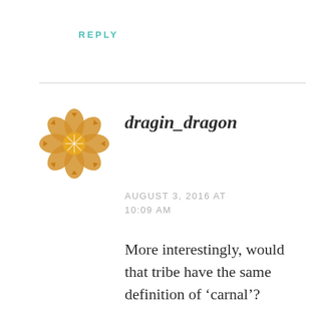REPLY
dragin_dragon
AUGUST 3, 2016 AT 10:09 AM
More interestingly, would that tribe have the same definition of 'carnal'?